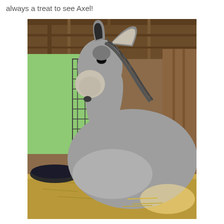always a treat to see Axel!
[Figure (photo): Close-up photo of a grey donkey named Axel inside a wooden barn/stable. The donkey is facing left in profile, showing its large ears, dark eye, grey fur, and lighter-colored muzzle. In the background there is a metal gate, green trees visible outside, hay on the ground, and wooden rafters above.]